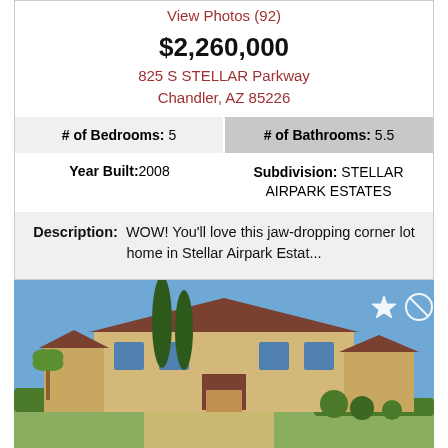View Photos (92)
$2,260,000
825 S STELLAR Parkway
Chandler, AZ 85226
| # of Bedrooms: 5 | # of Bathrooms: 5.5 |
| --- | --- |
Year Built: 2008   Subdivision: STELLAR AIRPARK ESTATES
Description: WOW! You'll love this jaw-dropping corner lot home in Stellar Airpark Estat...
[Figure (photo): Exterior photo of a large two-story Mediterranean-style home with tall cypress trees, manicured hedges, and a clear blue sky. Star and cancel icons visible in upper right corner.]